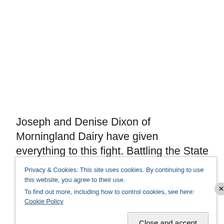Joseph and Denise Dixon of Morningland Dairy have given everything to this fight. Battling the State wasn’t really about them at all, but about our nation, our freedom, and our ability to choose food for ourselves and for our families that is truly nourishing and real. They held nothing back, but finally, the repeated systemic attacks have run their full course, and the dreams, hopes
Privacy & Cookies: This site uses cookies. By continuing to use this website, you agree to their use. To find out more, including how to control cookies, see here: Cookie Policy
Close and accept